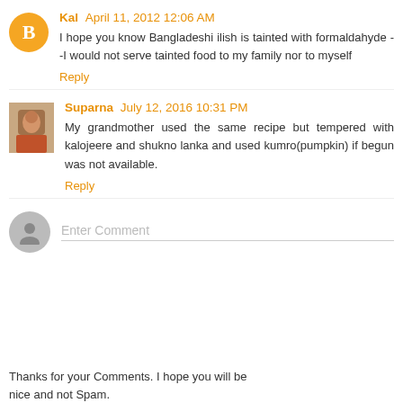Kal April 11, 2012 12:06 AM
I hope you know Bangladeshi ilish is tainted with formaldahyde --I would not serve tainted food to my family nor to myself
Reply
Suparna July 12, 2016 10:31 PM
My grandmother used the same recipe but tempered with kalojeere and shukno lanka and used kumro(pumpkin) if begun was not available.
Reply
Thanks for your Comments. I hope you will be nice and not Spam.